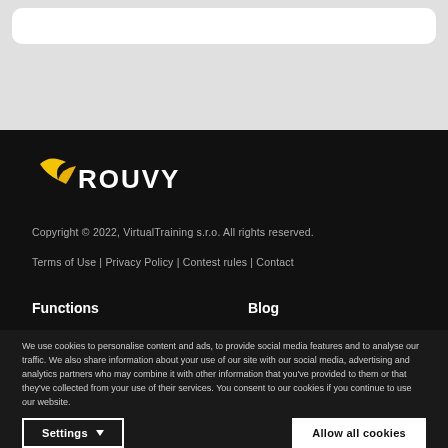[Figure (screenshot): Top browser address bar area with light gray background and white rounded URL bar]
[Figure (logo): ROUVY logo with yellow bird/swoosh icon on dark background]
Copyright © 2022, VirtualTraining s.r.o. All rights reserved.
Terms of Use | Privacy Policy | Contest rules | Contact
Functions
Blog
How it works
Help Desk
We use cookies to personalise content and ads, to provide social media features and to analyse our traffic. We also share information about your use of our site with our social media, advertising and analytics partners who may combine it with other information that you've provided to them or that they've collected from your use of their services. You consent to our cookies if you continue to use our website.
Settings ▼
Allow all cookies